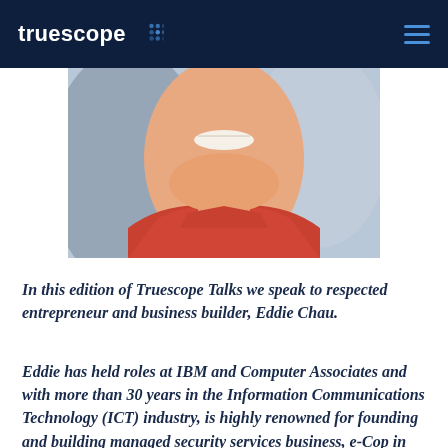truescope
[Figure (photo): Close-up photo of a smiling person wearing a red shirt, cropped to show the lower face, neck and upper torso against a blurred background.]
In this edition of Truescope Talks we speak to respected entrepreneur and business builder, Eddie Chau.
Eddie has held roles at IBM and Computer Associates and with more than 30 years in the Information Communications Technology (ICT) industry, is highly renowned for founding and building managed security services business, e-Cop in 2000 and social media analytics platform, Brandtology in